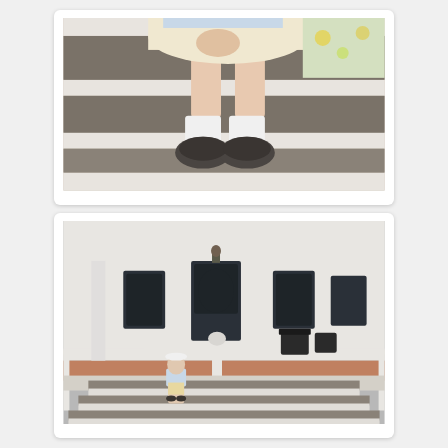[Figure (photo): Close-up photo of a person sitting on gray and white porch steps. Visible from mid-torso down, wearing a light blue top, a cream/beige skirt, white ankle socks, and dark gray/charcoal slip-on shoes. Hands folded in lap. Floral fabric visible on the right side.]
[Figure (photo): Wide-angle photo of a person sitting on the lower steps of a white-railed porch. The house has a white exterior with dark-framed windows and doors, brick foundation, and a light fixture above the center door. Dark metal patio furniture is visible on the porch. The person is small in the frame, wearing similar outfit as the close-up.]